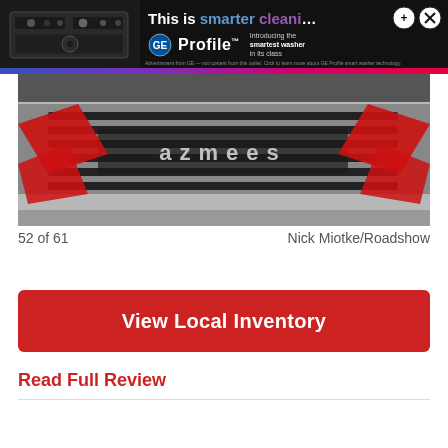[Figure (photo): GE Profile washer advertisement banner with white text 'This is smarter cleaning' on dark background, GE Profile logo, and photo of a washer appliance]
[Figure (photo): Close-up photo of car grille with red decorative elements and chrome lettering badge]
52 of 61
Nick Miotke/Roadshow
View Local Inventory
Read Full Review